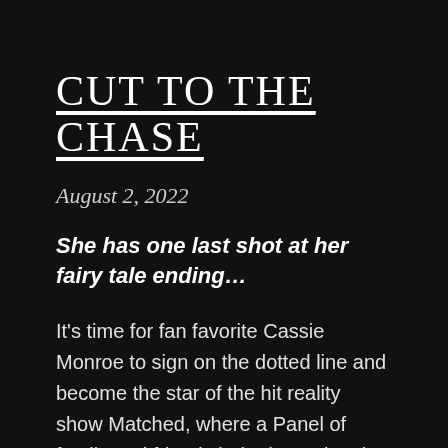CUT TO THE CHASE
August 2, 2022
She has one last shot at her fairy tale ending…
It's time for fan favorite Cassie Monroe to sign on the dotted line and become the star of the hit reality show Matched, where a Panel of family and friends help determine the star's happy ending. Except Cassie's Panel member search has reached a dead end. Until her family-friend-turned-nemesis Dr. Nick Morgan, in an attempt to talk her out of doing